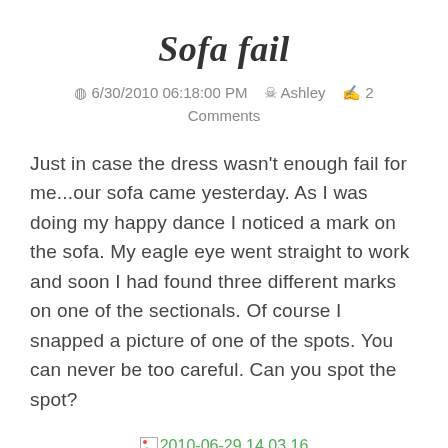Sofa fail
⊙ 6/30/2010 06:18:00 PM  ★ Ashley  ✉ 2 Comments
Just in case the dress wasn't enough fail for me...our sofa came yesterday. As I was doing my happy dance I noticed a mark on the sofa. My eagle eye went straight to work and soon I had found three different marks on one of the sectionals. Of course I snapped a picture of one of the spots. You can never be too careful. Can you spot the spot?
[Figure (photo): Broken image placeholder labeled '2010-06-29 14.03.16']